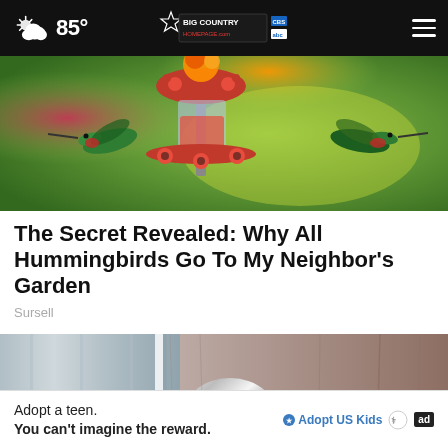85° — Big Country Homepage — Navigation menu
[Figure (photo): Hummingbirds feeding at a red hanging bird feeder with colorful flowers and green blurred background]
The Secret Revealed: Why All Hummingbirds Go To My Neighbor's Garden
Sursell
[Figure (photo): A doorknob covered in crumpled aluminum foil on a wooden door]
Adopt a teen. You can't imagine the reward.